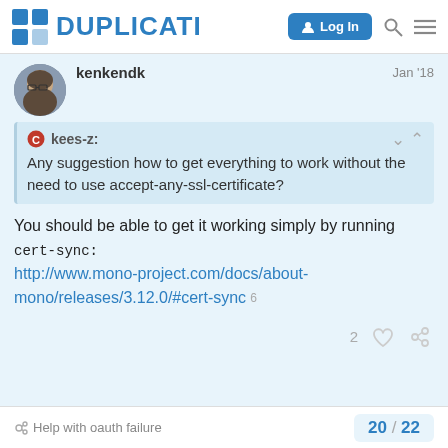DUPLICATI — Log In
kenkendk    Jan '18
kees-z: Any suggestion how to get everything to work without the need to use accept-any-ssl-certificate?
You should be able to get it working simply by running cert-sync: http://www.mono-project.com/docs/about-mono/releases/3.12.0/#cert-sync 6
Help with oauth failure    20 / 22